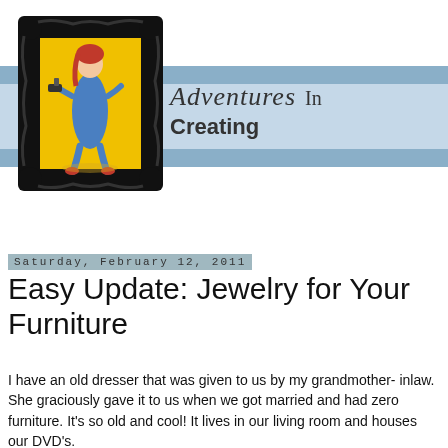[Figure (logo): Blog logo: ornate black picture frame containing a vintage pin-up style illustration of a red-haired woman in a blue dress holding a drill, on a yellow background. Framed artwork sits on a light blue horizontal banner.]
Adventures In Creating
Saturday, February 12, 2011
Easy Update: Jewelry for Your Furniture
I have an old dresser that was given to us by my grandmother- inlaw. She graciously gave it to us when we got married and had zero furniture. It's so old and cool! It lives in our living room and houses our DVD's.